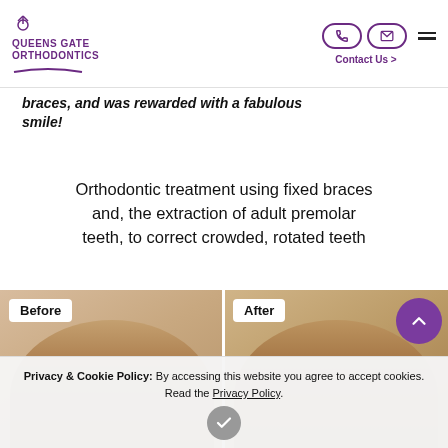Queens Gate Orthodontics – Contact Us
braces, and was rewarded with a fabulous smile!
Orthodontic treatment using fixed braces and, the extraction of adult premolar teeth, to correct crowded, rotated teeth
[Figure (photo): Before and After comparison photos showing a patient's teeth/facial profile before and after orthodontic treatment with fixed braces]
Privacy & Cookie Policy: By accessing this website you agree to accept cookies. Read the Privacy Policy.